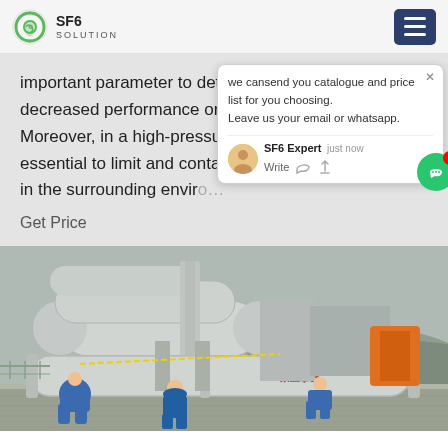SF6 SOLUTION
important parameter to determine signs of decreased performance or upcoming failure. Moreover, in a high-pressure situation, it is essential to limit and contain the effe... evacuation in the surrounding enviro...
Get Price
[Figure (screenshot): Chat popup overlay showing message: 'we can send you catalogue and price list for you choosing. Leave us your email or whatsapp.' with SF6 Expert avatar, 'just now' timestamp, Write field with thumbs up and paperclip icons, and green chat bubble button with red notification badge showing 1]
[Figure (photo): Outdoor industrial photo showing workers in blue overalls working on large white cylindrical SF6 gas equipment/pipes at an electrical substation or power facility, with mountains visible in the background]